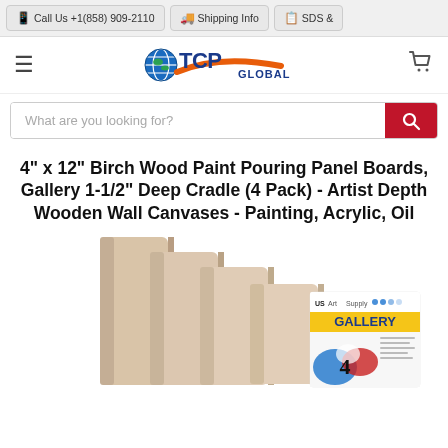📱 Call Us +1(858) 909-2110 | 🚚 Shipping Info | 📋 SDS &
[Figure (logo): TCP Global logo with globe icon, orange swoosh, and blue TCP GLOBAL text]
What are you looking for?
4" x 12" Birch Wood Paint Pouring Panel Boards, Gallery 1-1/2" Deep Cradle (4 Pack) - Artist Depth Wooden Wall Canvases - Painting, Acrylic, Oil
[Figure (photo): Four birch wood paint pouring panel boards standing upright in staircase arrangement, with a Gallery 4-pack product label visible on the front panel]